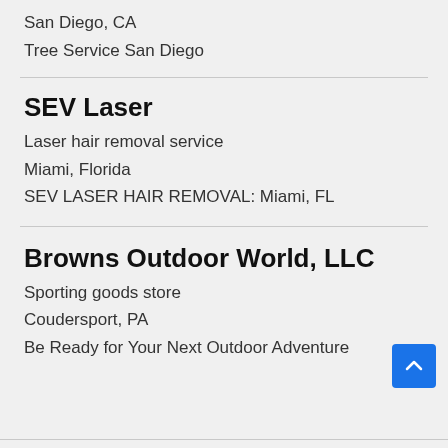San Diego, CA
Tree Service San Diego
SEV Laser
Laser hair removal service
Miami, Florida
SEV LASER HAIR REMOVAL: Miami, FL
Browns Outdoor World, LLC
Sporting goods store
Coudersport, PA
Be Ready for Your Next Outdoor Adventure